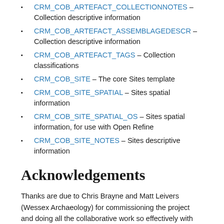CRM_COB_ARTEFACT_COLLECTIONNOTES – Collection descriptive information
CRM_COB_ARTEFACT_ASSEMBLAGEDESCR – Collection descriptive information
CRM_COB_ARTEFACT_TAGS – Collection classifications
CRM_COB_SITE – The core Sites template
CRM_COB_SITE_SPATIAL – Sites spatial information
CRM_COB_SITE_SPATIAL_OS – Sites spatial information, for use with Open Refine
CRM_COB_SITE_NOTES – Sites descriptive information
Acknowledgements
Thanks are due to Chris Brayne and Matt Leivers (Wessex Archaeology) for commissioning the project and doing all the collaborative work so effectively with the archive.